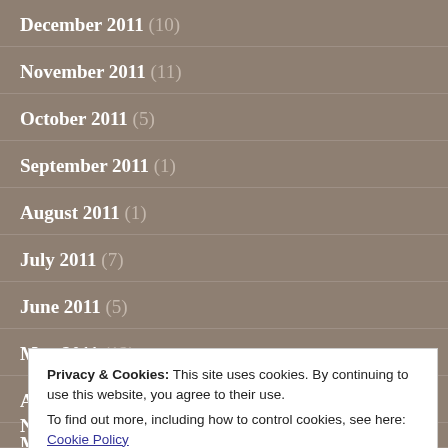December 2011 (10)
November 2011 (11)
October 2011 (5)
September 2011 (1)
August 2011 (1)
July 2011 (7)
June 2011 (5)
May 2011 (12)
April 2011 (10)
Privacy & Cookies: This site uses cookies. By continuing to use this website, you agree to their use.
To find out more, including how to control cookies, see here: Cookie Policy
November 2010 (2)